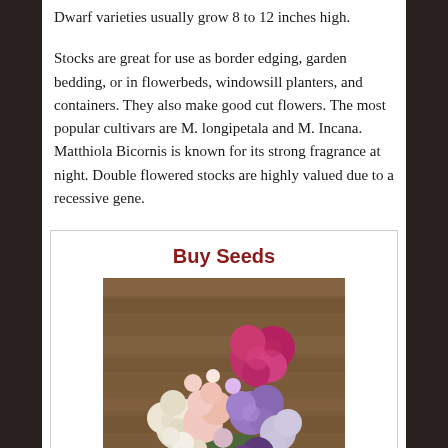Dwarf varieties usually grow 8 to 12 inches high.
Stocks are great for use as border edging, garden bedding, or in flowerbeds, windowsill planters, and containers. They also make good cut flowers. The most popular cultivars are M. longipetala and M. Incana. Matthiola Bicornis is known for its strong fragrance at night. Double flowered stocks are highly valued due to a recessive gene.
Buy Seeds
[Figure (photo): A bouquet of colorful stock flowers (Matthiola) in shades of pink, purple, white, and cream arranged on a wooden surface.]